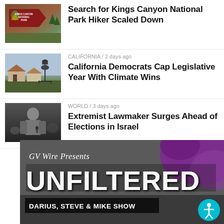[Figure (photo): Kings Canyon National Park sign thumbnail]
Search for Kings Canyon National Park Hiker Scaled Down
[Figure (photo): Oil pump jack near residential area thumbnail]
CALIFORNIA / 2 days ago
California Democrats Cap Legislative Year With Climate Wins
[Figure (photo): Man at podium thumbnail]
WORLD / 3 days ago
Extremist Lawmaker Surges Ahead of Elections in Israel
[Figure (illustration): GV Wire Presents UNFILTERED - Darius, Steve & Mike Show banner]